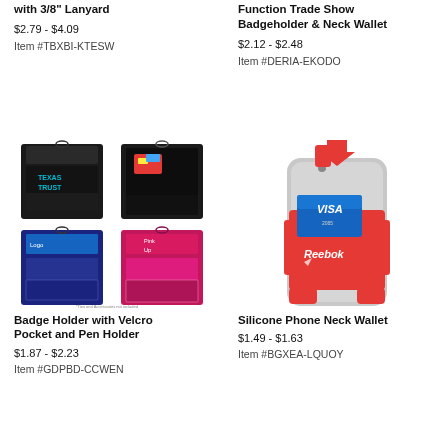with 3/8" Lanyard
$2.79 - $4.09
Item #TBXBI-KTESW
Function Trade Show Badgeholder & Neck Wallet
$2.12 - $2.48
Item #DERIA-EKODO
[Figure (photo): Badge Holder with Velcro Pocket and Pen Holder product in 4 colors: black (x2), navy blue, and pink/red]
[Figure (photo): Silicone Phone Neck Wallet in red attached to a smartphone showing Reebok branding and a Visa card inserted]
Badge Holder with Velcro Pocket and Pen Holder
$1.87 - $2.23
Item #GDPBD-CCWEN
Silicone Phone Neck Wallet
$1.49 - $1.63
Item #BGXEA-LQUOY